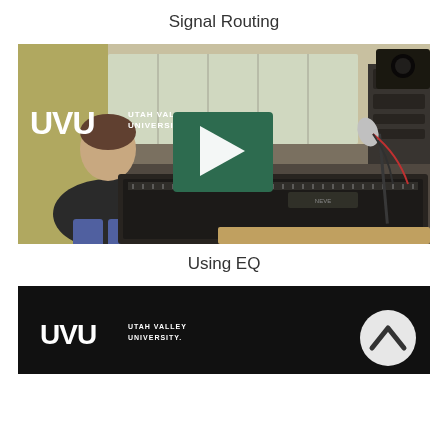Signal Routing
[Figure (screenshot): Video thumbnail showing a young man sitting in a recording studio with a large mixing console and microphone, with UVU Utah Valley University logo overlay and a green play button in the center]
Using EQ
[Figure (screenshot): Bottom portion of a video showing a black background with UVU Utah Valley University logo and a circular up-arrow navigation button on the right]